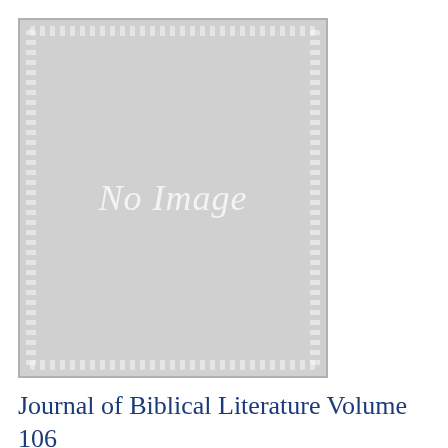[Figure (other): A placeholder book cover image showing 'No Image' in italic white text on a light gray background with decorative white dot/lace border pattern on all four sides.]
Journal of Biblical Literature Volume 106 with Index